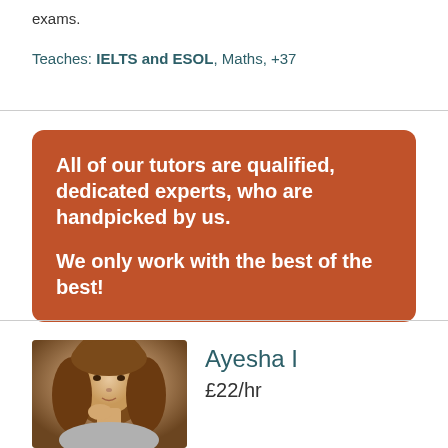exams.
Teaches: IELTS and ESOL, Maths, +37
All of our tutors are qualified, dedicated experts, who are handpicked by us.

We only work with the best of the best!
[Figure (photo): Portrait photo of tutor Ayesha I, young woman with long brown hair, hand near chin]
Ayesha I
£22/hr